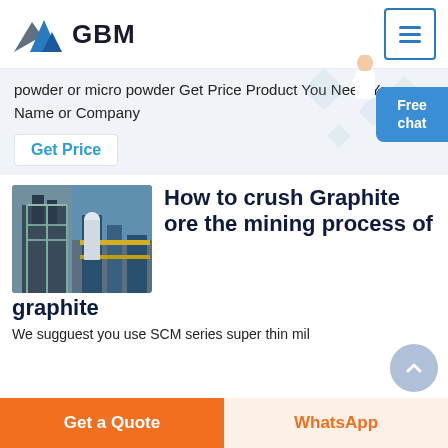GBM
powder or micro powder Get Price Product You Need Your Name or Company
Get Price
[Figure (photo): Industrial mining/crushing plant facility with steel structures and pipes]
How to crush Graphite ore the mining process of graphite
We sugguest you use SCM series super thin mil
Get a Quote
WhatsApp